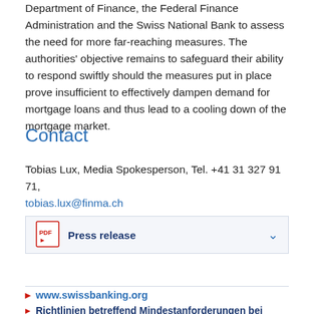Department of Finance, the Federal Finance Administration and the Swiss National Bank to assess the need for more far-reaching measures. The authorities' objective remains to safeguard their ability to respond swiftly should the measures put in place prove insufficient to effectively dampen demand for mortgage loans and thus lead to a cooling down of the mortgage market.
Contact
Tobias Lux, Media Spokesperson, Tel. +41 31 327 91 71, tobias.lux@finma.ch
Press release
www.swissbanking.org
Richtlinien betreffend Mindestanforderungen bei